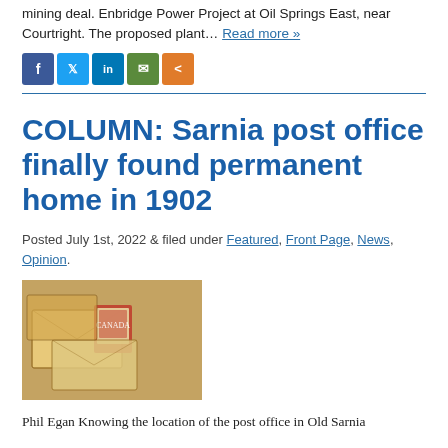mining deal. Enbridge Power Project at Oil Springs East, near Courtright. The proposed plant… Read more »
[Figure (other): Social media sharing buttons: Facebook, Twitter, LinkedIn, Email, Share]
COLUMN: Sarnia post office finally found permanent home in 1902
Posted July 1st, 2022 & filed under Featured, Front Page, News, Opinion.
[Figure (photo): Photo of vintage postage stamps and envelopes on a wooden surface]
Phil Egan Knowing the location of the post office in Old Sarnia